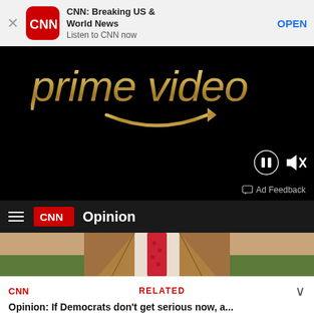[Figure (screenshot): CNN app promotional banner with close button, CNN app icon, app name 'CNN: Breaking US & World News', description 'Listen to CNN now', and OPEN button]
[Figure (screenshot): Amazon Prime Video advertisement with gold glittery 'prime video' text and smile/arrow logo on black background, with pause and mute controls, and Ad Feedback label]
CNN Opinion
[Figure (photo): Partial photo of a person in a tan/brown suit jacket with a red patterned tie, cropped at neck level]
CNN RELATED Opinion: If Democrats don't get serious now, a...